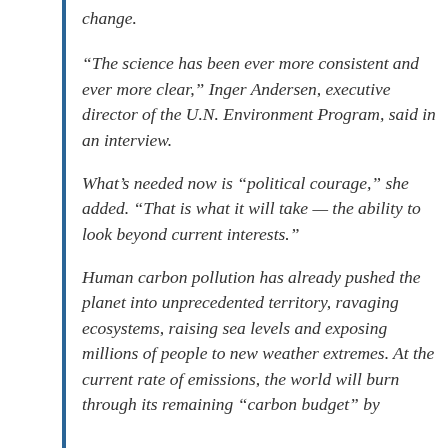change.
“The science has been ever more consistent and ever more clear,” Inger Andersen, executive director of the U.N. Environment Program, said in an interview.
What’s needed now is “political courage,” she added. “That is what it will take — the ability to look beyond current interests.”
Human carbon pollution has already pushed the planet into unprecedented territory, ravaging ecosystems, raising sea levels and exposing millions of people to new weather extremes. At the current rate of emissions, the world will burn through its remaining “carbon budget” by